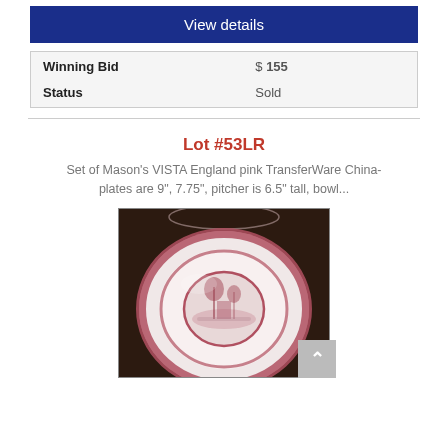View details
| Winning Bid | $ 155 |
| Status | Sold |
Lot #53LR
Set of Mason's VISTA England pink TransferWare China- plates are 9", 7.75", pitcher is 6.5" tall, bowl...
[Figure (photo): Photo of a pink and white Mason's VISTA TransferWare China plate with decorative border pattern showing a scenic landscape in the center, displayed on a dark background.]